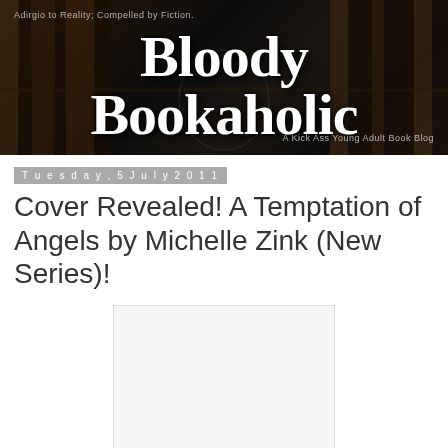[Figure (illustration): Bloody Bookaholic blog banner with dark background showing bookshelves, large white gothic-style title text 'Bloody Bookaholic', subtitle 'Adirgio to Reality; Compelled by Fiction.' and tagline 'A Kick Ass Young Adult Book Blog']
Tuesday, 5 July 2011
Cover Revealed! A Temptation of Angels by Michelle Zink (New Series)!
[Figure (illustration): Book cover placeholder - blank white/light gray rectangle representing the book cover for A Temptation of Angels by Michelle Zink]